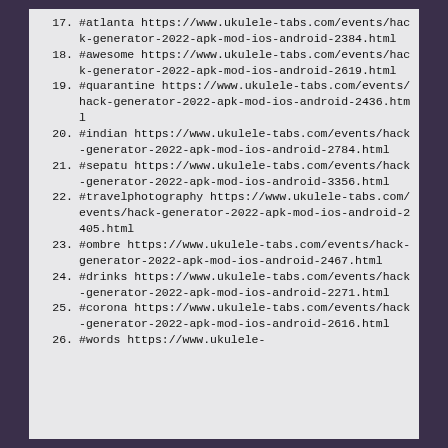17. #atlanta https://www.ukulele-tabs.com/events/hack-generator-2022-apk-mod-ios-android-2384.html
18. #awesome https://www.ukulele-tabs.com/events/hack-generator-2022-apk-mod-ios-android-2619.html
19. #quarantine https://www.ukulele-tabs.com/events/hack-generator-2022-apk-mod-ios-android-2436.html
20. #indian https://www.ukulele-tabs.com/events/hack-generator-2022-apk-mod-ios-android-2784.html
21. #sepatu https://www.ukulele-tabs.com/events/hack-generator-2022-apk-mod-ios-android-3356.html
22. #travelphotography https://www.ukulele-tabs.com/events/hack-generator-2022-apk-mod-ios-android-2405.html
23. #ombre https://www.ukulele-tabs.com/events/hack-generator-2022-apk-mod-ios-android-2467.html
24. #drinks https://www.ukulele-tabs.com/events/hack-generator-2022-apk-mod-ios-android-2271.html
25. #corona https://www.ukulele-tabs.com/events/hack-generator-2022-apk-mod-ios-android-2616.html
26. #words https://www.ukulele-